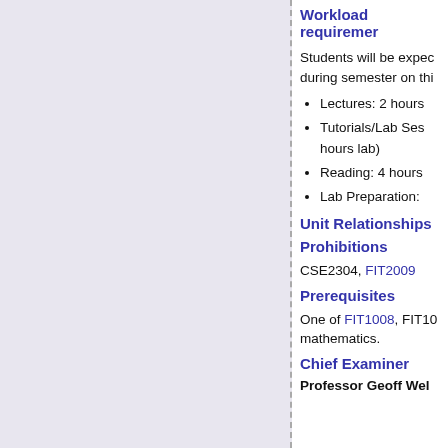Workload requirements
Students will be expected to spend the following hours during semester on this unit:
Lectures: 2 hours
Tutorials/Lab Sessions: (hours lab)
Reading: 4 hours
Lab Preparation:
Unit Relationships
Prohibitions
CSE2304, FIT2009
Prerequisites
One of FIT1008, FIT10... mathematics.
Chief Examiner
Professor Geoff Web...